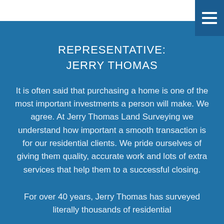REPRESENTATIVE:
JERRY THOMAS
It is often said that purchasing a home is one of the most important investments a person will make. We agree. At Jerry Thomas Land Surveying we understand how important a smooth transaction is for our residential clients. We pride ourselves of giving them quality, accurate work and lots of extra services that help them to a successful closing.
For over 40 years, Jerry Thomas has surveyed literally thousands of residential